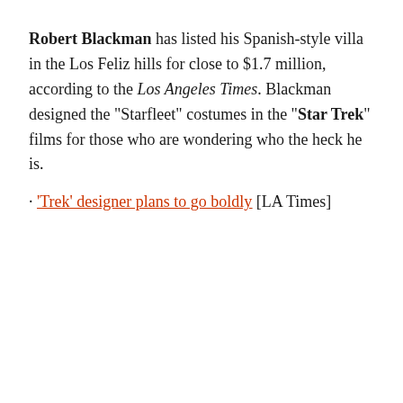Robert Blackman has listed his Spanish-style villa in the Los Feliz hills for close to $1.7 million, according to the Los Angeles Times. Blackman designed the "Starfleet" costumes in the "Star Trek" films for those who are wondering who the heck he is.
· 'Trek' designer plans to go boldly [LA Times]